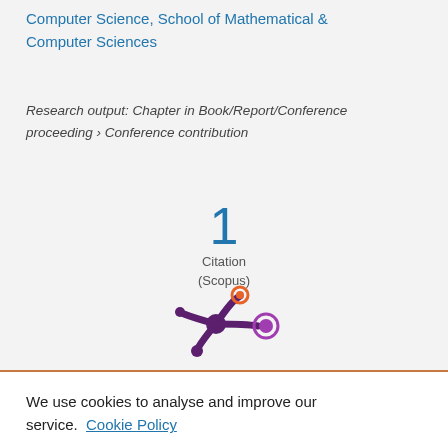Computer Science, School of Mathematical & Computer Sciences
Research output: Chapter in Book/Report/Conference proceeding › Conference contribution
1
Citation
(Scopus)
[Figure (logo): Altmetric logo — purple splash/asterisk shape with orange and purple circle dots]
We use cookies to analyse and improve our service. Cookie Policy